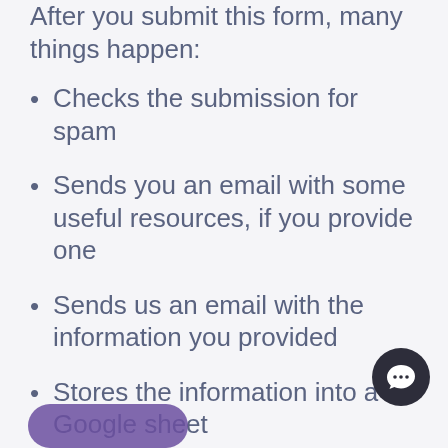After you submit this form, many things happen:
Checks the submission for spam
Sends you an email with some useful resources, if you provide one
Sends us an email with the information you provided
Stores the information into a Google sheet
Posts a message in our slack channel informing us of the new submission